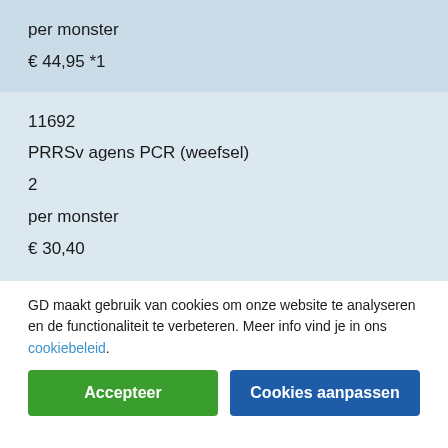per monster
€ 44,95 *1
11692
PRRSv agens PCR (weefsel)
2
per monster
€ 30,40
GD maakt gebruik van cookies om onze website te analyseren en de functionaliteit te verbeteren. Meer info vind je in ons cookiebeleid.
Accepteer
Cookies aanpassen